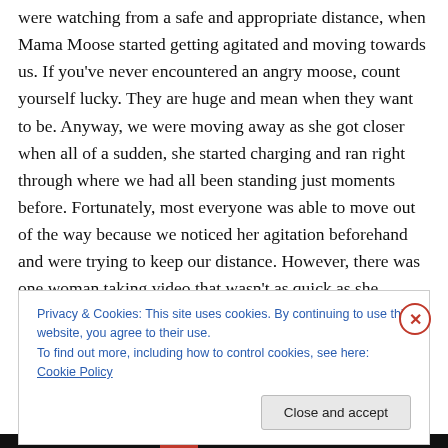were watching from a safe and appropriate distance, when Mama Moose started getting agitated and moving towards us. If you've never encountered an angry moose, count yourself lucky. They are huge and mean when they want to be. Anyway, we were moving away as she got closer when all of a sudden, she started charging and ran right through where we had all been standing just moments before. Fortunately, most everyone was able to move out of the way because we noticed her agitation beforehand and were trying to keep our distance. However, there was one woman taking video that wasn't as quick as she
Privacy & Cookies: This site uses cookies. By continuing to use this website, you agree to their use.
To find out more, including how to control cookies, see here: Cookie Policy
Close and accept